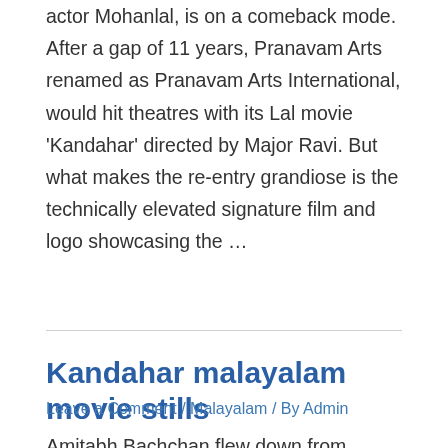actor Mohanlal, is on a comeback mode. After a gap of 11 years, Pranavam Arts renamed as Pranavam Arts International, would hit theatres with its Lal movie 'Kandahar' directed by Major Ravi. But what makes the re-entry grandiose is the technically elevated signature film and logo showcasing the …
Read More »
Kandahar malayalam movie stills
Leave a Comment / Malayalam / By Admin
Amitabh Bachchan flew down from Mumbai to Coimbatore on, June 29 and motored down to Ooty